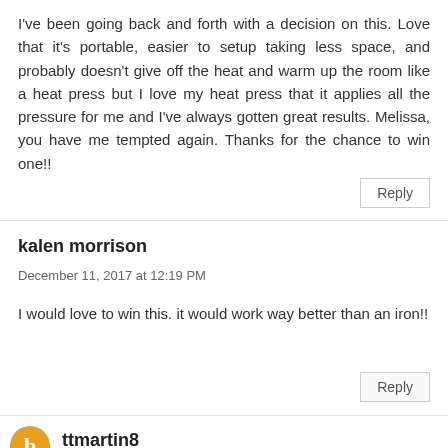I've been going back and forth with a decision on this. Love that it's portable, easier to setup taking less space, and probably doesn't give off the heat and warm up the room like a heat press but I love my heat press that it applies all the pressure for me and I've always gotten great results. Melissa, you have me tempted again. Thanks for the chance to win one!!
Reply
kalen morrison
December 11, 2017 at 12:19 PM
I would love to win this. it would work way better than an iron!!
Reply
ttmartin8